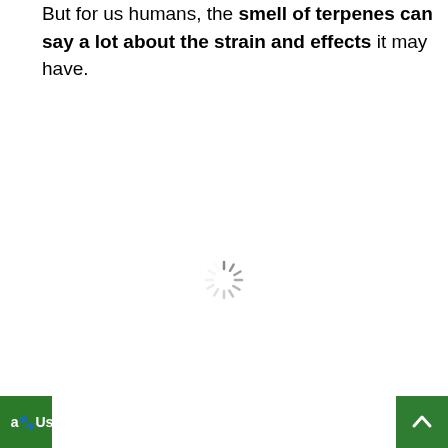But for us humans, the smell of terpenes can say a lot about the strain and effects it may have.
[Figure (other): Loading spinner icon — gray radial lines arranged in a circle indicating a loading/waiting state]
[Figure (logo): Partial green logo with white text reading 'al Us' visible at bottom left corner]
[Figure (other): Green back-to-top button with white upward chevron arrow at bottom right corner]